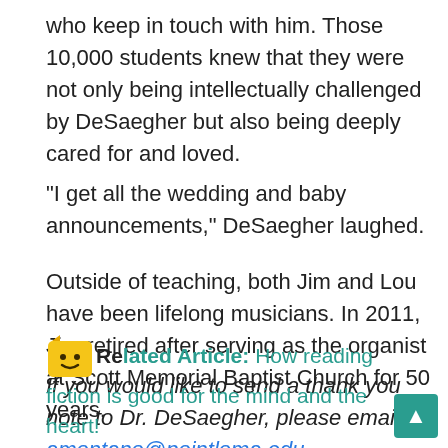who keep in touch with him. Those 10,000 students knew that they were not only being intellectually challenged by DeSaegher but also being deeply cared for and loved.
“I get all the wedding and baby announcements,” DeSaegher laughed.
Outside of teaching, both Jim and Lou have been lifelong musicians. In 2011, Jim retired after serving as the organist at Scott Memorial Baptist Church for 50 years.
If you would like to send a thank you note to Dr. DeSaegher, please email amontano@pointloma.edu.
Related Article: How reading fiction is good for the mind and the heart!